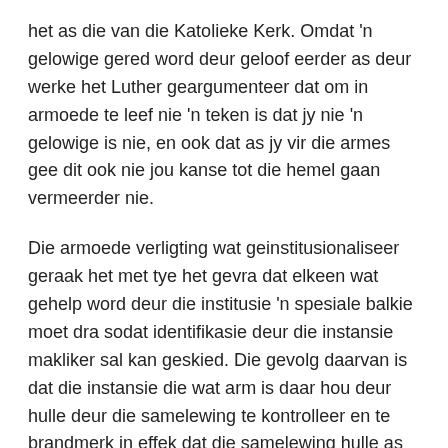het as die van die Katolieke Kerk. Omdat 'n gelowige gered word deur geloof eerder as deur werke het Luther geargumenteer dat om in armoede te leef nie 'n teken is dat jy nie 'n gelowige is nie, en ook dat as jy vir die armes gee dit ook nie jou kanse tot die hemel gaan vermeerder nie.
Die armoede verligting wat geinstitusionaliseer geraak het met tye het gevra dat elkeen wat gehelp word deur die institusie 'n spesiale balkie moet dra sodat identifikasie deur die instansie makliker sal kan geskied. Die gevolg daarvan is dat die instansie die wat arm is daar hou deur hulle deur die samelewing te kontrolleer en te brandmerk in effek dat die samelewing hulle as arm sien en nooit as meer as dit sal sien nie.
Wat interessant is, is dat in 1523 het die staat van Frankfurt vereis dat alle bedelary gestaak word en dit onwettig